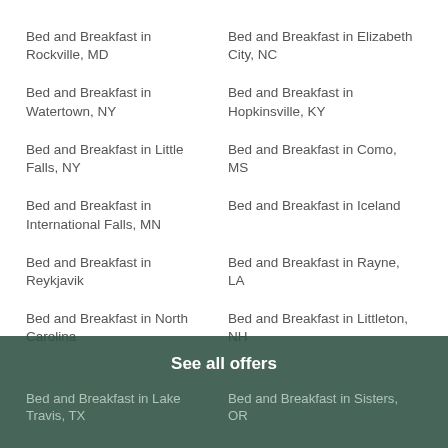Bed and Breakfast in Rockville, MD
Bed and Breakfast in Elizabeth City, NC
Bed and Breakfast in Watertown, NY
Bed and Breakfast in Hopkinsville, KY
Bed and Breakfast in Little Falls, NY
Bed and Breakfast in Como, MS
Bed and Breakfast in International Falls, MN
Bed and Breakfast in Iceland
Bed and Breakfast in Reykjavik
Bed and Breakfast in Rayne, LA
Bed and Breakfast in North Carolina
Bed and Breakfast in Littleton, NH
See all offers
Bed and Breakfast in Lake Travis, TX
Bed and Breakfast in Sisters, OR